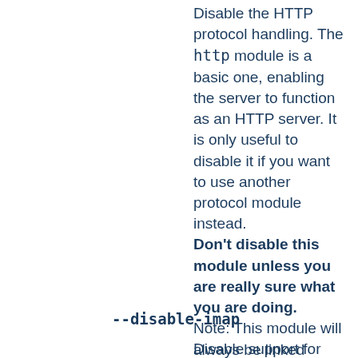Disable the HTTP protocol handling. The http module is a basic one, enabling the server to function as an HTTP server. It is only useful to disable it if you want to use another protocol module instead. Don't disable this module unless you are really sure what you are doing. Note: This module will always be linked statically.
--disable-imap
Disable support for server based imagemaps, which